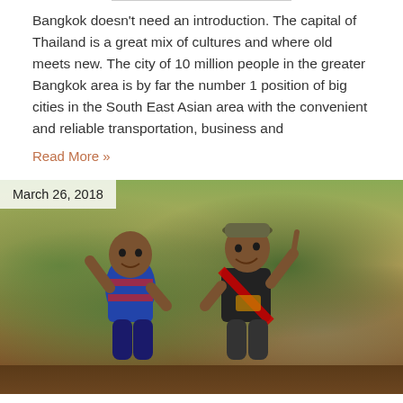Bangkok doesn't need an introduction. The capital of Thailand is a great mix of cultures and where old meets new. The city of 10 million people in the greater Bangkok area is by far the number 1 position of big cities in the South East Asian area with the convenient and reliable transportation, business and
Read More »
March 26, 2018
[Figure (photo): Two young boys smiling and posing outdoors in a rural/forested area. The boy on the left wears a blue and red striped soccer jersey, and the boy on the right wears a dark shirt with a red strap/sash and a hat. Both are leaning on what appears to be a wooden railing or fence. Trees and dry brush are visible in the background.]